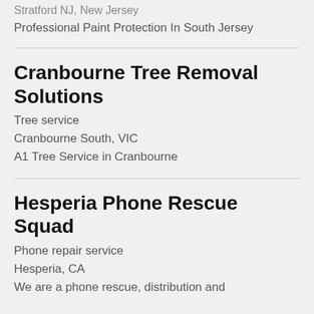Stratford NJ, New Jersey
Professional Paint Protection In South Jersey
Cranbourne Tree Removal Solutions
Tree service
Cranbourne South, VIC
A1 Tree Service in Cranbourne
Hesperia Phone Rescue Squad
Phone repair service
Hesperia, CA
We are a phone rescue, distribution and